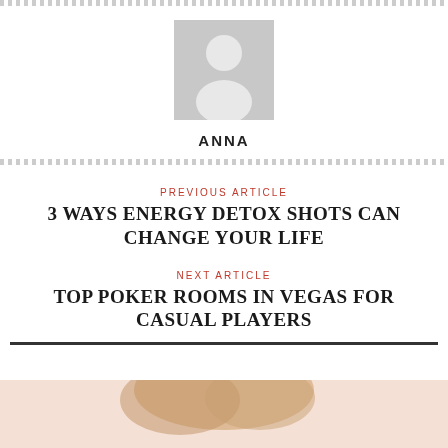[Figure (illustration): Generic user avatar placeholder with grey background showing silhouette of a person]
ANNA
PREVIOUS ARTICLE
3 WAYS ENERGY DETOX SHOTS CAN CHANGE YOUR LIFE
NEXT ARTICLE
TOP POKER ROOMS IN VEGAS FOR CASUAL PLAYERS
[Figure (photo): Bottom portion of page showing a partial photo of a blonde person against a light pink/peach background]